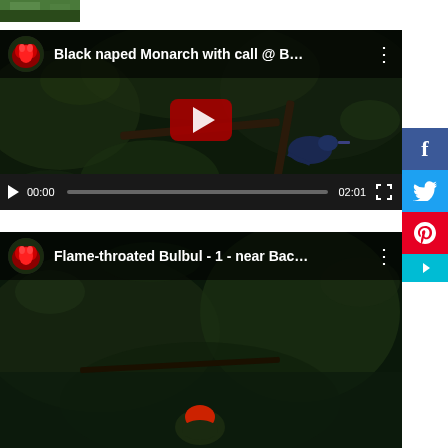[Figure (screenshot): Small landscape thumbnail image at top left]
[Figure (screenshot): YouTube-style embedded video player showing 'Black naped Monarch with call @ B...' with dark nature background showing a bird on a branch, red play button overlay, video controls showing 00:00 / 02:01 duration]
[Figure (screenshot): YouTube-style embedded video player showing 'Flame-throated Bulbul - 1 - near Bac...' with dark nature background, partially visible]
[Figure (screenshot): Social media share sidebar with Facebook (blue), Twitter (light blue), and Pinterest (red) buttons, with a teal toggle arrow]